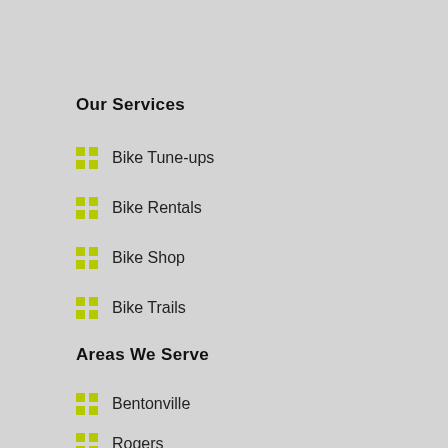Our Services
Bike Tune-ups
Bike Rentals
Bike Shop
Bike Trails
Areas We Serve
Bentonville
Rogers
Bella Vista
Fayetteville